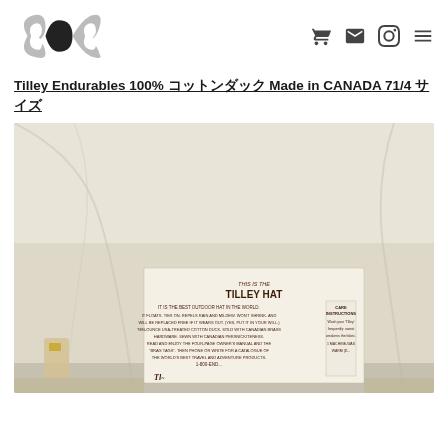Navigation header with logo and icons
Tilley Endurables 100% コットンダック Made in CANADA 71/4 サイズ
[Figure (photo): Close-up photo of the inside of a cream/off-white Tilley Hat showing the sewn-in label which reads: THIS IS THE TILLEY HAT. IT IS THE BEST OUTDOOR HAT IN THE WORLD. IT FLOATS. TIES ON. REPELS RAIN AND MILDEW. WON'T SHRINK. AND WILL BE REPLACED FREE IF IT WEARS OUT. (YES, PUT IT IN YOUR WILL.) TEN-OUNCE USA-TREATED COTTON DUCK. SOLD WITH CANADIAN BRASS HARDWARE. SEWN WITH CANADIAN PERSNICKITENESS. READ AND ENJOY THE FOUR-PAGE OWNER'S MANUAL AND THE 'BRAG TAGS'. THEN PHONE OR WRITE FOR A CATALOGUE OF THE WORLD'S BEST TRAVEL AND ADVENTURE PRODUCTS. 1-800-END... Also shows CARE INSTRUCTIONS panel.]